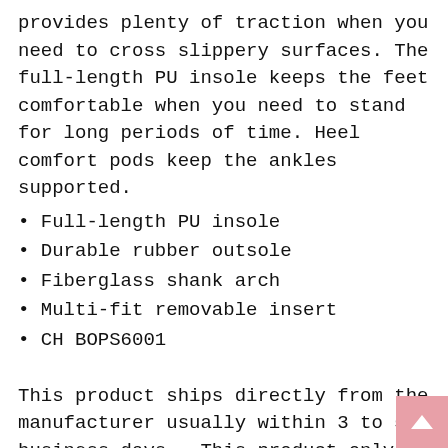provides plenty of traction when you need to cross slippery surfaces. The full-length PU insole keeps the feet comfortable when you need to stand for long periods of time. Heel comfort pods keep the ankles supported.
Full-length PU insole
Durable rubber outsole
Fiberglass shank arch
Multi-fit removable insert
CH BOPS6001
This product ships directly from the manufacturer usually within 3 to 5 business days.  This product only ships to the 48 contiguous states.  Direct ship products are not eligible for next day or 2nd day shipping.